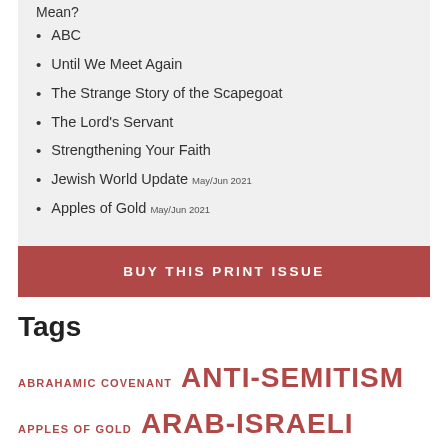Mean?
ABC
Until We Meet Again
The Strange Story of the Scapegoat
The Lord's Servant
Strengthening Your Faith
Jewish World Update May/Jun 2021
Apples of Gold May/Jun 2021
BUY THIS PRINT ISSUE
Tags
ABRAHAMIC COVENANT ANTI-SEMITISM APPLES OF GOLD ARAB-ISRAELI